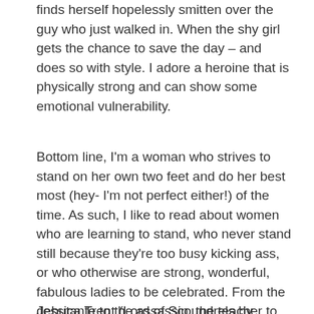finds herself hopelessly smitten over the guy who just walked in. When the shy girl gets the chance to save the day – and does so with style. I adore a heroine that is physically strong and can show some emotional vulnerability.
Bottom line, I'm a woman who strives to stand on her own two feet and do her best most (hey- I'm not perfect either!) of the time. As such, I like to read about women who are learning to stand, who never stand still because they're too busy kicking ass, or who otherwise are strong, wonderful, fabulous ladies to be celebrated. From the debutante to the assassin, the teacher to the detective – I root for them all. In celebration of strength in heroines, I will share some examples of all-time favorite (book) heroines of mine:
Jessica Trent (Lord of Scoundrels by Loretta Chase)